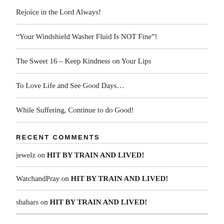Rejoice in the Lord Always!
“Your Windshield Washer Fluid Is NOT Fine”!
The Sweet 16 – Keep Kindness on Your Lips
To Love Life and See Good Days…
While Suffering, Continue to do Good!
RECENT COMMENTS
jewelz on HIT BY TRAIN AND LIVED!
WatchandPray on HIT BY TRAIN AND LIVED!
sbabars on HIT BY TRAIN AND LIVED!